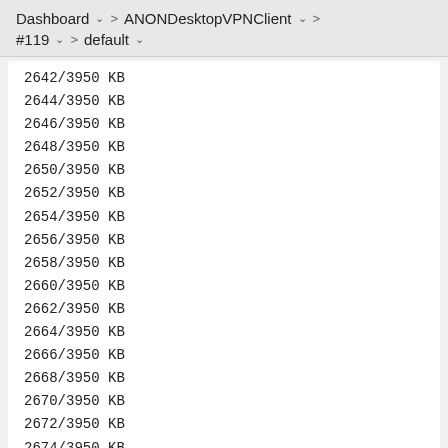Dashboard > ANONDesktopVPNClient > #119 > default
2642/3950 KB
2644/3950 KB
2646/3950 KB
2648/3950 KB
2650/3950 KB
2652/3950 KB
2654/3950 KB
2656/3950 KB
2658/3950 KB
2660/3950 KB
2662/3950 KB
2664/3950 KB
2666/3950 KB
2668/3950 KB
2670/3950 KB
2672/3950 KB
2674/3950 KB